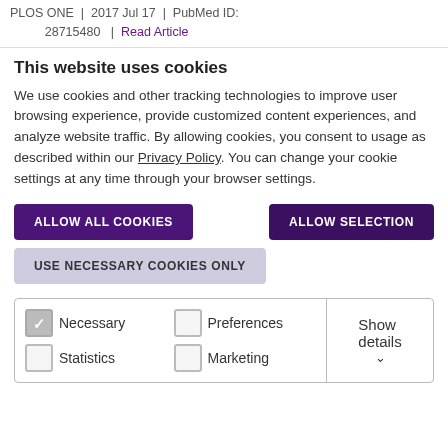PLOS ONE | 2017 Jul 17 | PubMed ID: 28715480 | Read Article
This website uses cookies
We use cookies and other tracking technologies to improve user browsing experience, provide customized content experiences, and analyze website traffic. By allowing cookies, you consent to usage as described within our Privacy Policy. You can change your cookie settings at any time through your browser settings.
ALLOW ALL COOKIES
ALLOW SELECTION
USE NECESSARY COOKIES ONLY
|  |  |
| --- | --- |
| Necessary | Preferences |
| Statistics | Marketing |
| Show details |  |